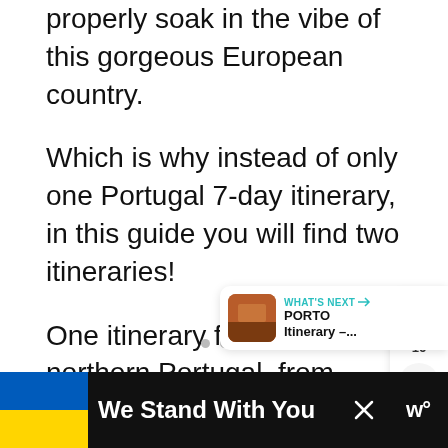properly soak in the vibe of this gorgeous European country.
Which is why instead of only one Portugal 7-day itinerary, in this guide you will find two itineraries!
One itinerary focuses on northern Portugal, from Porto to Lisbon, whilst the other focuses on southern Portugal, going from Lisbon to the Algarve.
[Figure (screenshot): UI overlay with heart/like button showing teal circle with heart icon, count '16', and share button]
[Figure (screenshot): What's Next widget showing thumbnail image with 'WHAT'S NEXT →' label and 'PORTO Itinerary –...' text]
[Figure (screenshot): Advertisement bar with Ukraine flag colors (blue and yellow), text 'We Stand With You', close button, and news logo]
We Stand With You